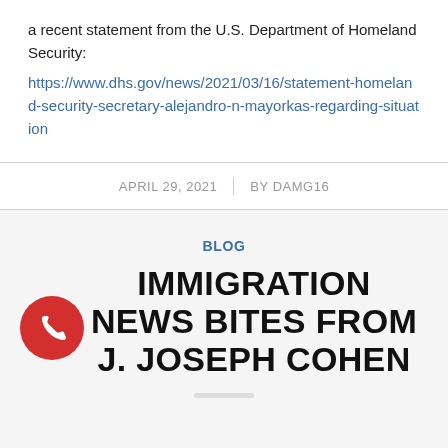a recent statement from the U.S. Department of Homeland Security:
https://www.dhs.gov/news/2021/03/16/statement-homeland-security-secretary-alejandro-n-mayorkas-regarding-situation
APRIL 29, 2021 | BY DAMG16
BLOG
IMMIGRATION NEWS BITES FROM J. JOSEPH COHEN